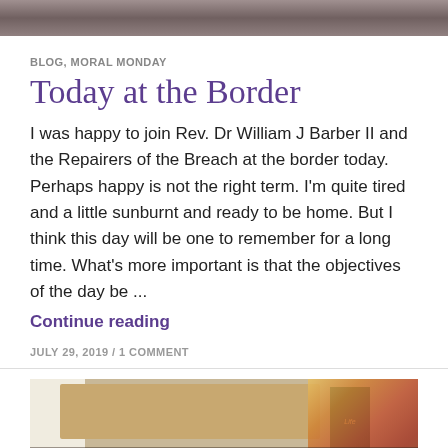[Figure (photo): Cropped top portion of a group photo of people]
BLOG, MORAL MONDAY
Today at the Border
I was happy to join Rev. Dr William J Barber II and the Repairers of the Breach at the border today. Perhaps happy is not the right term. I'm quite tired and a little sunburnt and ready to be home. But I think this day will be one to remember for a long time. What's more important is that the objectives of the day be ...
Continue reading
JULY 29, 2019 / 1 COMMENT
[Figure (photo): Interior of a church with organ pipes, a green banner reading 'Life', stained glass windows, and a group of people gathered inside]